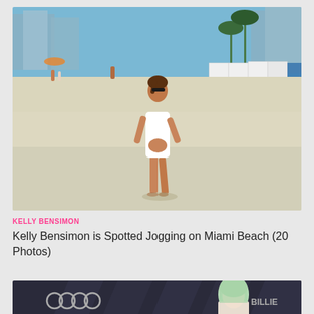[Figure (photo): Woman in white cut-out swimsuit jogging on Miami Beach with buildings in background]
KELLY BENSIMON
Kelly Bensimon is Spotted Jogging on Miami Beach (20 Photos)
[Figure (photo): Woman with mint/green hair at an event with Audi logo in background]